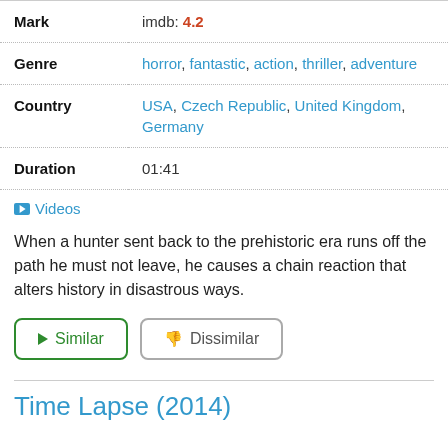| Field | Value |
| --- | --- |
| Mark | imdb: 4.2 |
| Genre | horror, fantastic, action, thriller, adventure |
| Country | USA, Czech Republic, United Kingdom, Germany |
| Duration | 01:41 |
Videos
When a hunter sent back to the prehistoric era runs off the path he must not leave, he causes a chain reaction that alters history in disastrous ways.
Similar  Dissimilar
Time Lapse (2014)